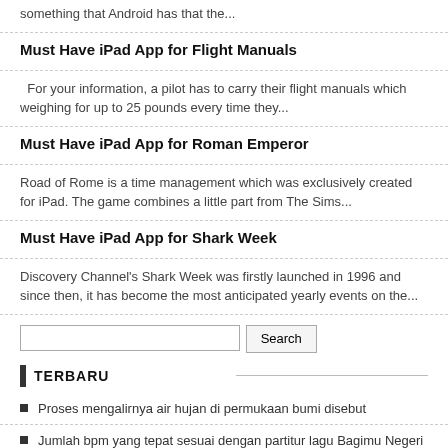something that Android has that the...
Must Have iPad App for Flight Manuals
For your information, a pilot has to carry their flight manuals which weighing for up to 25 pounds every time they...
Must Have iPad App for Roman Emperor
Road of Rome is a time management which was exclusively created for iPad. The game combines a little part from The Sims...
Must Have iPad App for Shark Week
Discovery Channel's Shark Week was firstly launched in 1996 and since then, it has become the most anticipated yearly events on the...
Search
TERBARU
Proses mengalirnya air hujan di permukaan bumi disebut
Jumlah bpm yang tepat sesuai dengan partitur lagu Bagimu Negeri adalah
How to Hide || Apps On Android 2020 without root your phone No third party apps